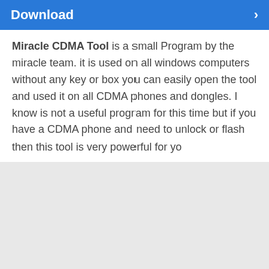Download
Miracle CDMA Tool is a small Program by the miracle team. it is used on all windows computers without any key or box you can easily open the tool and used it on all CDMA phones and dongles. I know is not a useful program for this time but if you have a CDMA phone and need to unlock or flash then this tool is very powerful for yo
[Figure (other): Gray empty area, possibly an advertisement or image placeholder]
Our website uses cookies to improve your experience. Learn more about: cookie policy
Accept